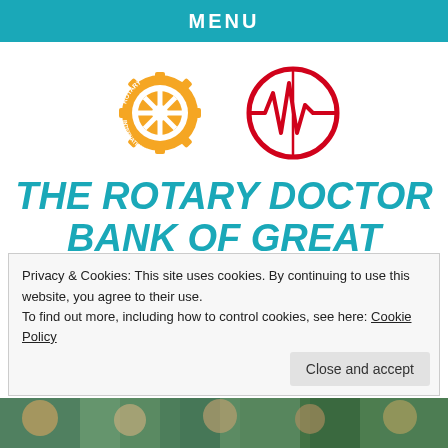MENU
[Figure (logo): Rotary International golden gear wheel logo and a red circle with heartbeat/ECG line logo side by side]
THE ROTARY DOCTOR BANK OF GREAT BRITAIN
Privacy & Cookies: This site uses cookies. By continuing to use this website, you agree to their use.
To find out more, including how to control cookies, see here: Cookie Policy
Close and accept
[Figure (photo): Photo strip of people at the bottom of the page]